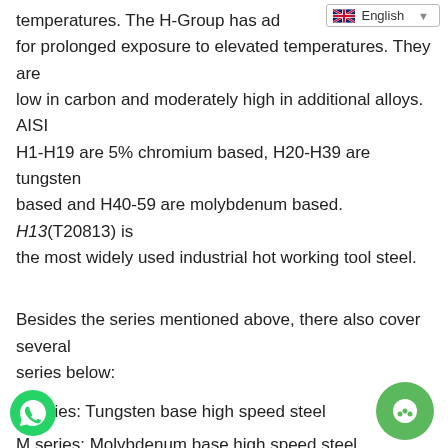[Figure (screenshot): Language selector dropdown showing UK flag and 'English' text with dropdown arrow]
temperatures. The H-Group has additionally designed for prolonged exposure to elevated temperatures. They are low in carbon and moderately high in additional alloys. AISI H1-H19 are 5% chromium based, H20-H39 are tungsten based and H40-59 are molybdenum based. H13(T20813) is the most widely used industrial hot working tool steel.
Besides the series mentioned above, there also cover several series below:
T series: Tungsten base high speed steel
M series: Molybdenum base high speed steel
W series: Water-hardening tool steel
P series: Plastic mold
L series: Low alloy special purpose tool steel
F series: Carbon tungsten special purpose tool steel